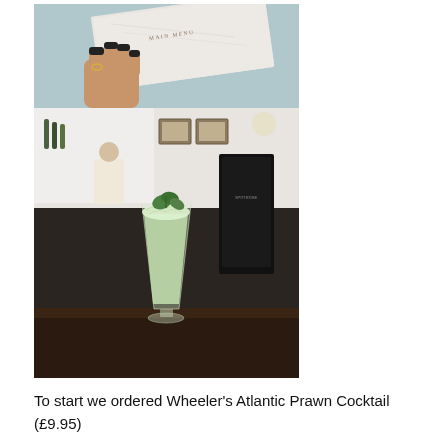[Figure (photo): Two photos stacked: top photo shows a hand with dark nail polish holding a white marble-effect menu card reading 'MAIN MENU'; bottom photo shows a tall slim cocktail glass filled with pale green frozen/crushed ice drink garnished with mint leaves, set on a dark wooden bar/table with a restaurant interior background including framed pictures on walls and a black menu stand.]
To start we ordered Wheeler's Atlantic Prawn Cocktail (£9.95)